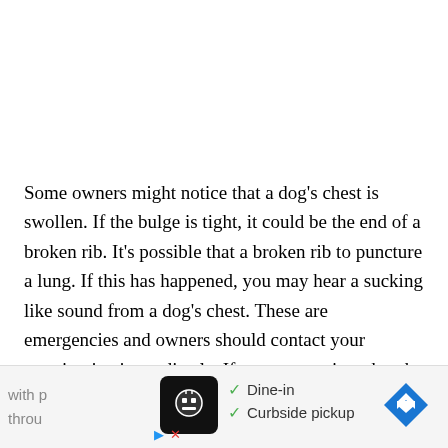Some owners might notice that a dog's chest is swollen. If the bulge is tight, it could be the end of a broken rib. It's possible that a broken rib to puncture a lung. If this has happened, you may hear a sucking like sound from a dog's chest. These are emergencies and owners should contact your veterinarian immediately. If your vet notices that the rib fracture is severe, he may need to have it surgically repaired. We can repair most breaks with p[...] ly throu[...]
[Figure (other): Advertisement banner at the bottom of the page showing a restaurant/food app icon, dine-in and curbside pickup checkmarks, and a navigation arrow icon. Partially obscures the bottom text of the article.]